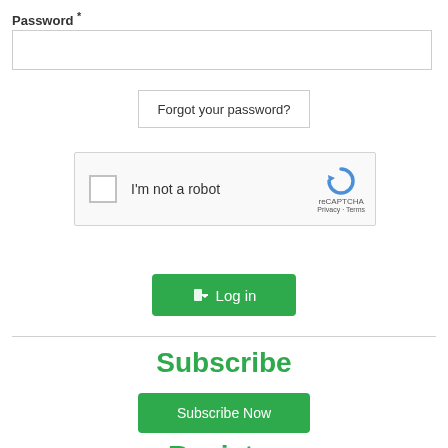Password *
[Figure (screenshot): Empty password input field with border]
Forgot your password?
[Figure (screenshot): reCAPTCHA widget with checkbox labeled I'm not a robot and reCAPTCHA logo with Privacy - Terms links]
Log in
Subscribe
Subscribe Now
Register